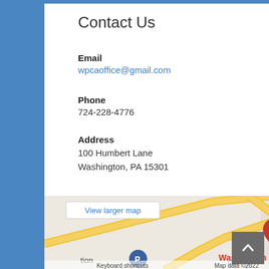Contact Us
Email
wpcaoffice@gmail.com
Phone
724-228-4776
Address
100 Humbert Lane
Washington, PA 15301
[Figure (map): Google Maps screenshot showing location of 100 Humbert Lane, Washington, PA with red pin marker. Washington Hospital visible. 'View larger map' button in upper left. Map data ©2022.]